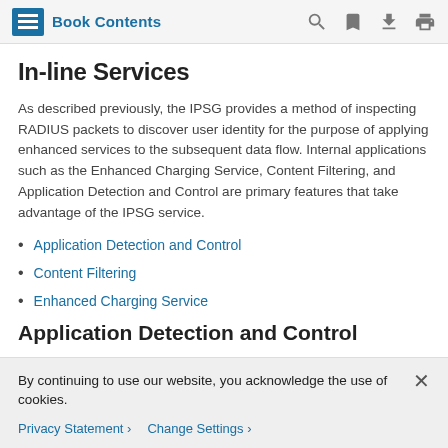Book Contents
In-line Services
As described previously, the IPSG provides a method of inspecting RADIUS packets to discover user identity for the purpose of applying enhanced services to the subsequent data flow. Internal applications such as the Enhanced Charging Service, Content Filtering, and Application Detection and Control are primary features that take advantage of the IPSG service.
Application Detection and Control
Content Filtering
Enhanced Charging Service
Application Detection and Control
By continuing to use our website, you acknowledge the use of cookies.
Privacy Statement ›   Change Settings ›